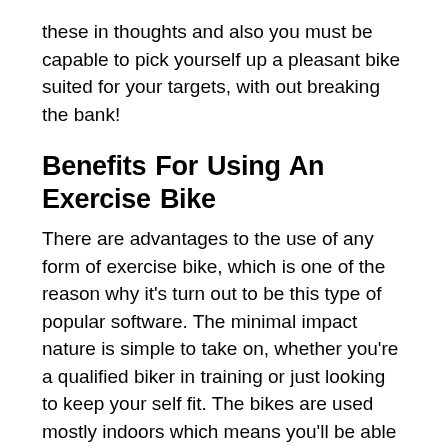these in thoughts and also you must be capable to pick yourself up a pleasant bike suited for your targets, with out breaking the bank!
Benefits For Using An Exercise Bike
There are advantages to the use of any form of exercise bike, which is one of the reason why it's turn out to be this type of popular software. The minimal impact nature is simple to take on, whether you're a qualified biker in training or just looking to keep your self fit. The bikes are used mostly indoors which means you'll be able to exercise whether or not it's rain or shine, and the big variety of uses make the bike an overly flexible fitness choice for anybody desiring to acheive a more healthy way of life.
Conclusion